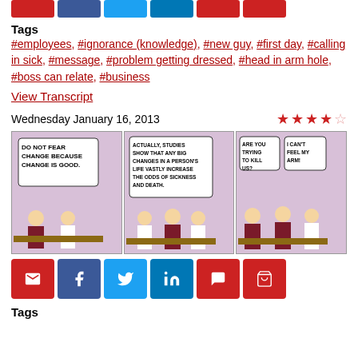[Figure (infographic): Social sharing buttons row: email (red), facebook (blue), twitter (light blue), linkedin (dark blue), comment (red), cart (red)]
Tags
#employees, #ignorance (knowledge), #new guy, #first day, #calling in sick, #message, #problem getting dressed, #head in arm hole, #boss can relate, #business
View Transcript
Wednesday January 16, 2013
[Figure (illustration): Dilbert comic strip: Panel 1: Boss says DO NOT FEAR CHANGE BECAUSE CHANGE IS GOOD. Panel 2: Dilbert says ACTUALLY, STUDIES SHOW THAT ANY BIG CHANGES IN A PERSON'S LIFE VASTLY INCREASE THE ODDS OF SICKNESS AND DEATH. Panel 3: Boss says ARE YOU TRYING TO KILL US? Wally says I CAN'T FEEL MY ARM!]
[Figure (infographic): Social sharing buttons row: email (red), facebook (blue), twitter (light blue), linkedin (dark blue), comment (red), cart (red)]
Tags